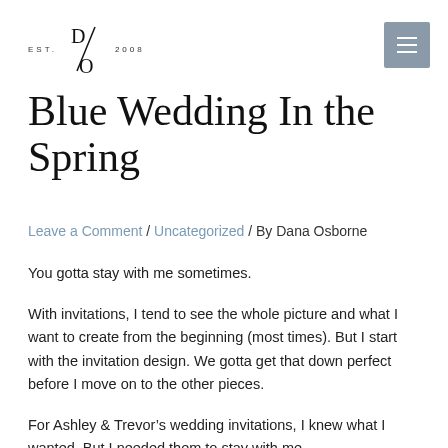EST. D/O 2008
Blue Wedding In the Spring
Leave a Comment / Uncategorized / By Dana Osborne
You gotta stay with me sometimes.
With invitations, I tend to see the whole picture and what I want to create from the beginning (most times). But I start with the invitation design. We gotta get that down perfect before I move on to the other pieces.
For Ashley & Trevor’s wedding invitations, I knew what I wanted. But I needed them to stay with me.